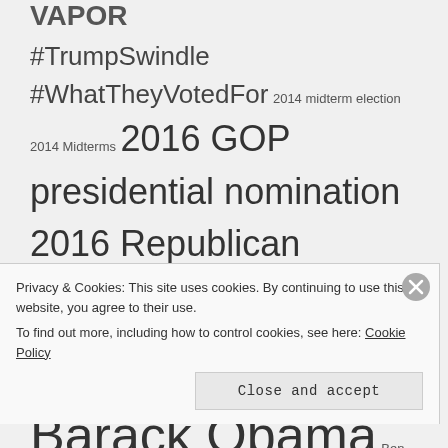VAPOR
#TrumpSwindle #WhatTheyVotedFor 2014 midterm election 2014 Midterms 2016 GOP presidential nomination 2016 Republican presidential nomination Adam Huber anti-abortion anti-gay Associated Press bad journalism Barack Obama Ben Carson Bug Martini Christian bigotry Christian hatred Christian supremacism CNN Daa'ish Daily Kos Daily Kos Comics Donald Trump Donald Trump
Privacy & Cookies: This site uses cookies. By continuing to use this website, you agree to their use.
To find out more, including how to control cookies, see here: Cookie Policy
Close and accept